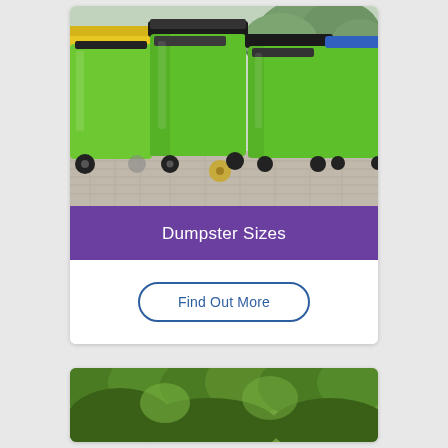[Figure (photo): Row of large green plastic wheeled dumpster bins on a paved surface with trees in background. One has a yellow lid on the left.]
Dumpster Sizes
Find Out More
[Figure (photo): Dense green forest/trees visible at bottom of page, partial view.]